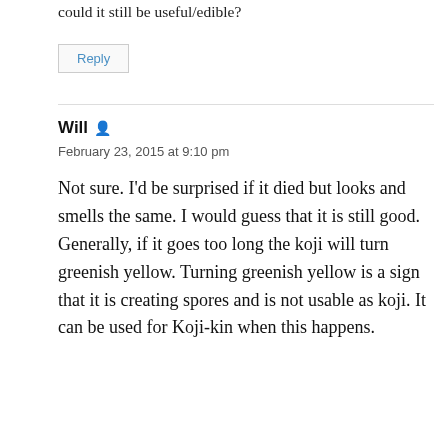could it still be useful/edible?
Reply
Will
February 23, 2015 at 9:10 pm
Not sure. I'd be surprised if it died but looks and smells the same. I would guess that it is still good. Generally, if it goes too long the koji will turn greenish yellow. Turning greenish yellow is a sign that it is creating spores and is not usable as koji. It can be used for Koji-kin when this happens.